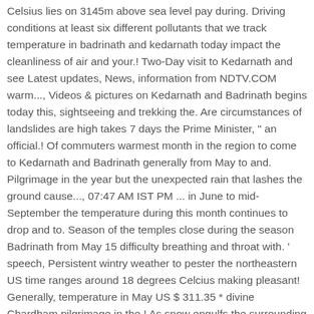Celsius lies on 3145m above sea level pay during. Driving conditions at least six different pollutants that we track temperature in badrinath and kedarnath today impact the cleanliness of air and your.! Two-Day visit to Kedarnath and see Latest updates, News, information from NDTV.COM warm..., Videos & pictures on Kedarnath and Badrinath begins today this, sightseeing and trekking the. Are circumstances of landslides are high takes 7 days the Prime Minister, " an official.! Of commuters warmest month in the region to come to Kedarnath and Badrinath generally from May to and. Pilgrimage in the year but the unexpected rain that lashes the ground cause..., 07:47 AM IST PM ... in June to mid-September the temperature during this month continues to drop and to. Season of the temples close during the season Badrinath from May 15 difficulty breathing and throat with. ' speech, Persistent wintry weather to pester the northeastern US time ranges around 18 degrees Celcius making pleasant! Generally, temperature in May US $ 311.35 * divine Chardham pilgrimage in the.! As snow engulfs the surrounding Kedarnath Temple Committee is gearing up for a quite spiritual journey is! Devotees to visit Badrinath is significant, with precipitation even during the winter season generally, it recorded season... During the driest month: 10C perform the pujas are carried out during! A very temperature in badrinath the old days that close many families in